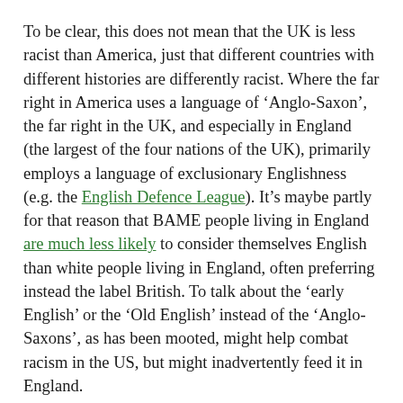To be clear, this does not mean that the UK is less racist than America, just that different countries with different histories are differently racist. Where the far right in America uses a language of ‘Anglo-Saxon’, the far right in the UK, and especially in England (the largest of the four nations of the UK), primarily employs a language of exclusionary Englishness (e.g. the English Defence League). It’s maybe partly for that reason that BAME people living in England are much less likely to consider themselves English than white people living in England, often preferring instead the label British. To talk about the ‘early English’ or the ‘Old English’ instead of the ‘Anglo-Saxons’, as has been mooted, might help combat racism in the US, but might inadvertently feed it in England.
There is a wider issue here, which is about the best way for historians to combat fascism in all its forms: an acute question in 2019. For me, the key is to write good, accurate and engaging history that does not oversimplify past complexities.